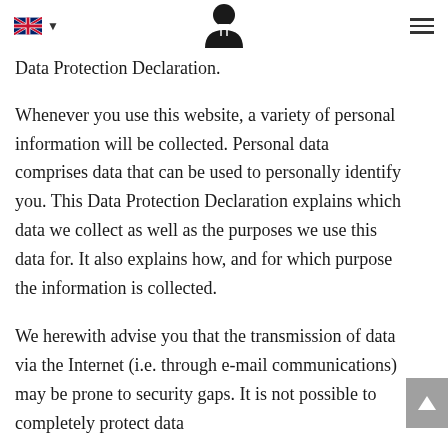confidential information and in compliance with the statutory data protection regulations and this Data Protection Declaration.
Whenever you use this website, a variety of personal information will be collected. Personal data comprises data that can be used to personally identify you. This Data Protection Declaration explains which data we collect as well as the purposes we use this data for. It also explains how, and for which purpose the information is collected.
We herewith advise you that the transmission of data via the Internet (i.e. through e-mail communications) may be prone to security gaps. It is not possible to completely protect data